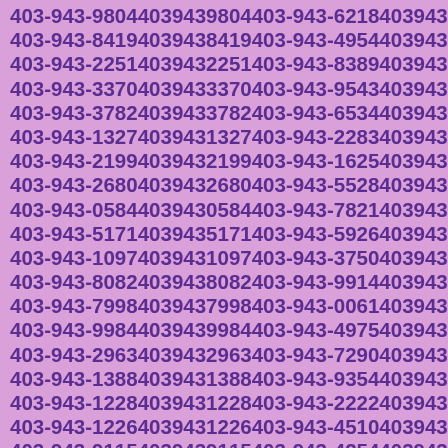| 403-943-9804 | 4039439804 | 403-943-6218 | 4039436218 |
| 403-943-8419 | 4039438419 | 403-943-4954 | 4039434954 |
| 403-943-2251 | 4039432251 | 403-943-8389 | 4039438389 |
| 403-943-3370 | 4039433370 | 403-943-9543 | 4039439543 |
| 403-943-3782 | 4039433782 | 403-943-6534 | 4039436534 |
| 403-943-1327 | 4039431327 | 403-943-2283 | 4039432283 |
| 403-943-2199 | 4039432199 | 403-943-1625 | 4039431625 |
| 403-943-2680 | 4039432680 | 403-943-5528 | 4039435528 |
| 403-943-0584 | 4039430584 | 403-943-7821 | 4039437821 |
| 403-943-5171 | 4039435171 | 403-943-5926 | 4039435926 |
| 403-943-1097 | 4039431097 | 403-943-3750 | 4039433750 |
| 403-943-8082 | 4039438082 | 403-943-9914 | 4039439914 |
| 403-943-7998 | 4039437998 | 403-943-0061 | 4039430061 |
| 403-943-9984 | 4039439984 | 403-943-4975 | 4039434975 |
| 403-943-2963 | 4039432963 | 403-943-7290 | 4039437290 |
| 403-943-1388 | 4039431388 | 403-943-9354 | 4039439354 |
| 403-943-1228 | 4039431228 | 403-943-2222 | 4039432222 |
| 403-943-1226 | 4039431226 | 403-943-4510 | 4039434510 |
| 403-943-9115 | 4039439115 | 403-943-4254 | 4039434254 |
| 403-943-0808 | 4039430808 | 403-943-0980 | 4039430980 |
| 403-943-9971 | 4039439971 | 403-943-1801 | 4039431801 |